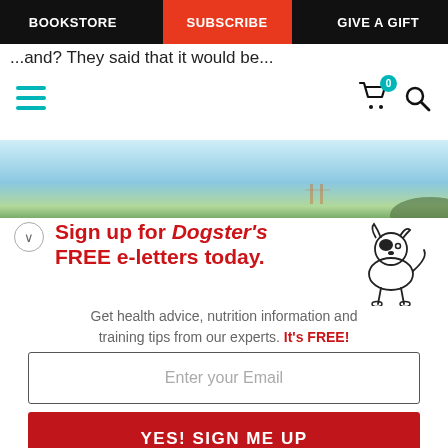BOOKSTORE | SUBSCRIBE | GIVE A GIFT
...and? They said that it would be...
[Figure (screenshot): Mobile website toolbar with teal hamburger menu icon, shopping cart icon with '0' badge, and magnifying glass search icon]
[Figure (photo): Panoramic banner image showing a light blue sky over a city waterfront scene]
Sign up for Dogster's FREE e-letters today.
[Figure (illustration): Simple line drawing of a small dog, white with a black eye patch]
Get health advice, nutrition information and training tips from our experts. It's FREE!
Enter your Email
YES! SIGN ME UP